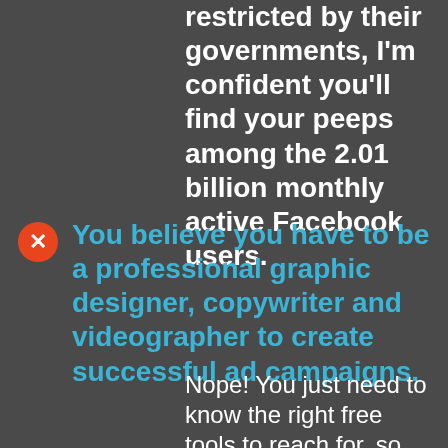restricted by their governments, I'm confident you'll find your peeps among the 2.01 billion monthly active Facebook users.
You believe you have to be a professional graphic designer, copywriter and videographer to create successful ad campaigns.
Nope! You just need to know the right free tools to reach for, so you can quickly and easily design